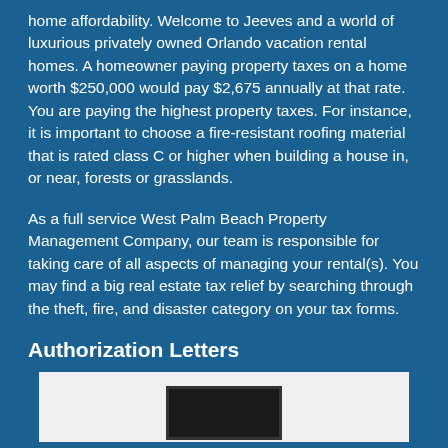home affordability. Welcome to Jeeves and a world of luxurious privately owned Orlando vacation rental homes. A homeowner paying property taxes on a home worth $250,000 would pay $2,675 annually at that rate. You are paying the highest property taxes. For instance, it is important to choose a fire-resistant roofing material that is rated class C or higher when building a house in, or near, forests or grasslands.
As a full service West Palm Beach Property Management Company, our team is responsible for taking care of all aspects of managing your rental(s). You may find a big real estate tax relief by searching through the theft, fire, and disaster category on your tax forms.
Authorization Letters
[Figure (photo): White background image area with a dark bordered rectangle visible at the bottom center, partially cropped]